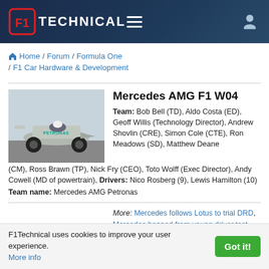F1Technical
Home / Forum / Formula One / F1 Car Hardware & Development
Mercedes AMG F1 W04
Team: Bob Bell (TD), Aldo Costa (ED), Geoff Willis (Technology Director), Andrew Shovlin (CRE), Simon Cole (CTE), Ron Meadows (SD), Matthew Deane (CM), Ross Brawn (TP), Nick Fry (CEO), Toto Wolff (Exec Director), Andy Cowell (MD of powertrain), Drivers: Nico Rosberg (9), Lewis Hamilton (10)
Team name: Mercedes AMG Petronas
[Figure (photo): Mercedes AMG F1 W04 car on track with driver]
More: Mercedes follows Lotus to trial DRD, Mercedes banned from young driver test, Pirelli reprimanded
F1Technical uses cookies to improve your user experience. More info